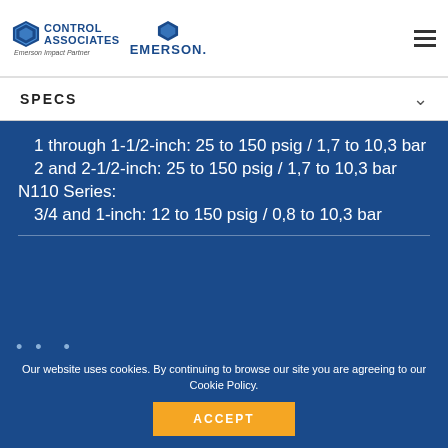[Figure (logo): Control Associates and Emerson logos in white header bar]
SPECS
1 through 1-1/2-inch: 25 to 150 psig / 1,7 to 10,3 bar
 2 and 2-1/2-inch: 25 to 150 psig / 1,7 to 10,3 bar
N110 Series:
 3/4 and 1-inch: 12 to 150 psig / 0,8 to 10,3 bar
Our website uses cookies. By continuing to browse our site you are agreeing to our Cookie Policy.